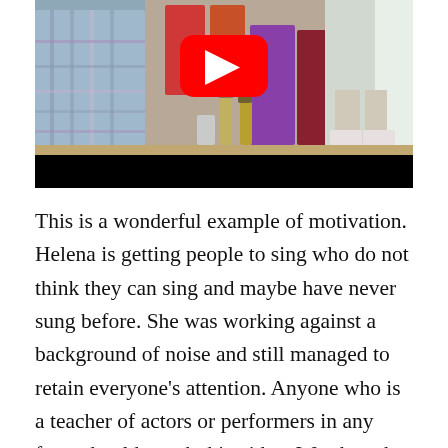[Figure (screenshot): YouTube video thumbnail showing people in a room, someone in a blue plaid shirt in foreground, others in background with drinks on table. Large red YouTube play button overlaid in center. Black control bar at bottom.]
This is a wonderful example of motivation. Helena is getting people to sing who do not think they can sing and maybe have never sung before. She was working against a background of noise and still managed to retain everyone’s attention. Anyone who is a teacher of actors or performers in any form should watch this video. Watch to the end.